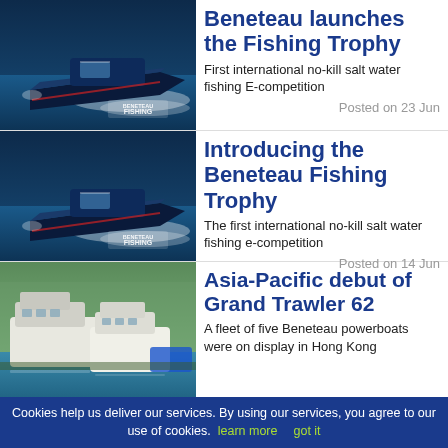[Figure (photo): Beneteau fishing boat speeding on water with Beneteau Fishing logo, dark blue water background]
Beneteau launches the Fishing Trophy
First international no-kill salt water fishing E-competition
Posted on 23 Jun
[Figure (photo): Beneteau fishing boat speeding on water with Beneteau Fishing logo, dark blue water background]
Introducing the Beneteau Fishing Trophy
The first international no-kill salt water fishing e-competition
Posted on 14 Jun
[Figure (photo): Fleet of large Beneteau powerboats moored in a marina with green trees and buildings in the background, Hong Kong]
Asia-Pacific debut of Grand Trawler 62
A fleet of five Beneteau powerboats were on display in Hong Kong
Cookies help us deliver our services. By using our services, you agree to our use of cookies. learn more   got it